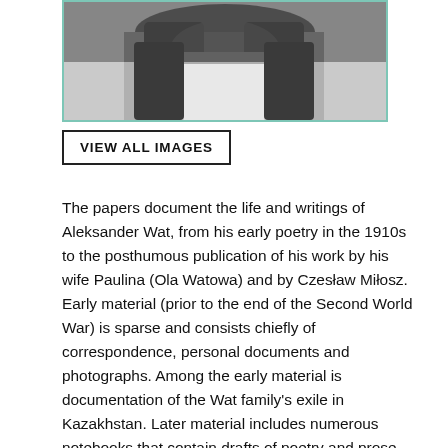[Figure (photo): Black and white photograph of Aleksander Wat, cropped showing upper body, person leaning, wearing dark clothing]
VIEW ALL IMAGES
The papers document the life and writings of Aleksander Wat, from his early poetry in the 1910s to the posthumous publication of his work by his wife Paulina (Ola Watowa) and by Czesław Miłosz. Early material (prior to the end of the Second World War) is sparse and consists chiefly of correspondence, personal documents and photographs. Among the early material is documentation of the Wat family's exile in Kazakhstan. Later material includes numerous notebooks that contain drafts of poetry and prose writings, and the audio recordings that formed the basis for Mój wiek. Two folders of lists and notes document the contents and organization of the material as it was received by the Beinecke Library are filed at the beginning of the